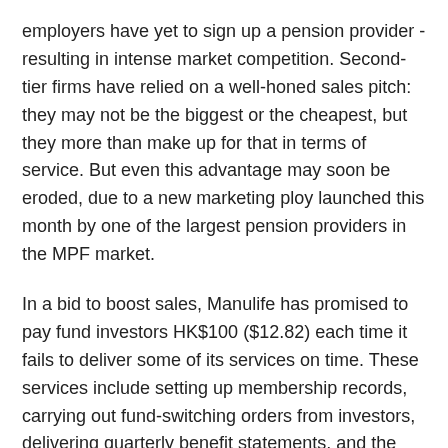employers have yet to sign up a pension provider - resulting in intense market competition. Second-tier firms have relied on a well-honed sales pitch: they may not be the biggest or the cheapest, but they more than make up for that in terms of service. But even this advantage may soon be eroded, due to a new marketing ploy launched this month by one of the largest pension providers in the MPF market.
In a bid to boost sales, Manulife has promised to pay fund investors HK$100 ($12.82) each time it fails to deliver some of its services on time. These services include setting up membership records, carrying out fund-switching orders from investors, delivering quarterly benefit statements, and the issuance of cheques upon withdrawal or transferal of benefits from funds.